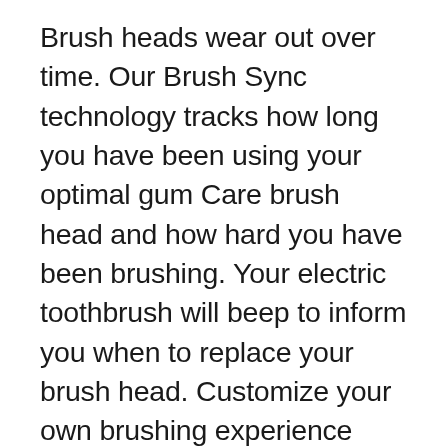Brush heads wear out over time. Our Brush Sync technology tracks how long you have been using your optimal gum Care brush head and how hard you have been brushing. Your electric toothbrush will beep to inform you when to replace your brush head. Customize your own brushing experience with your choice of 3 modes: Clean, White, and Gum Care. The easy-start feature slowly increases the power of the brush as you get used to the Sonicare experience and the smarter encourages a full 2 minute brushing time as recommended by your dental professional. The battery charge indicator light lets you know when it is time to recharge; 2-week battery life. The kit includes 1 protective Clean 5100 handle, 1 Optimal gum Care brush head, 1 charger, 1